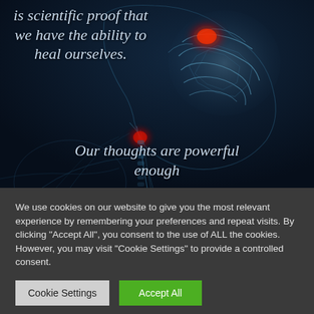[Figure (illustration): Dark background X-ray style illustration of a human head and torso showing the brain, nervous system, and throat/neck area with glowing red highlights at the brain and throat. Overlaid italic text in light blue-gray reads: 'is scientific proof that we have the ability to heal ourselves.' at top left, and 'Our thoughts are powerful enough' at bottom center.]
We use cookies on our website to give you the most relevant experience by remembering your preferences and repeat visits. By clicking "Accept All", you consent to the use of ALL the cookies. However, you may visit "Cookie Settings" to provide a controlled consent.